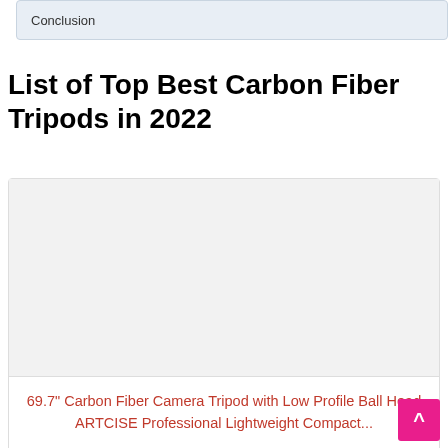Conclusion
List of Top Best Carbon Fiber Tripods in 2022
[Figure (other): Product image area for carbon fiber tripod (blank/placeholder image area)]
69.7" Carbon Fiber Camera Tripod with Low Profile Ball Head ARTCISE Professional Lightweight Compact...
Price: $198.00 ✓Prime